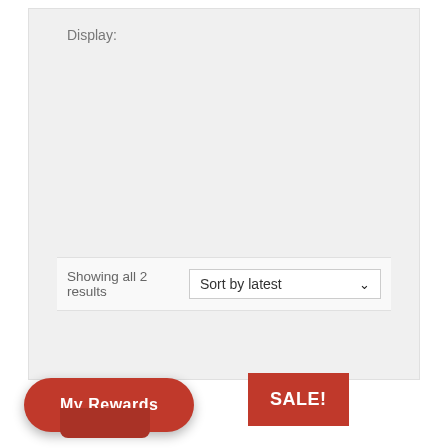Display:
Showing all 2 results
Sort by latest
My Rewards
SALE!